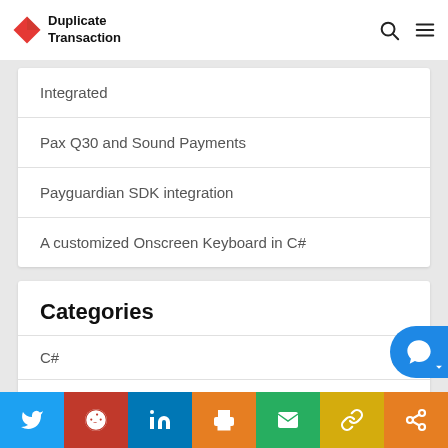Duplicate Transaction
Integrated
Pax Q30 and Sound Payments
Payguardian SDK integration
A customized Onscreen Keyboard in C#
Categories
C# (3)
Cloud (7)
Twitter Reddit LinkedIn Print Email Link Share